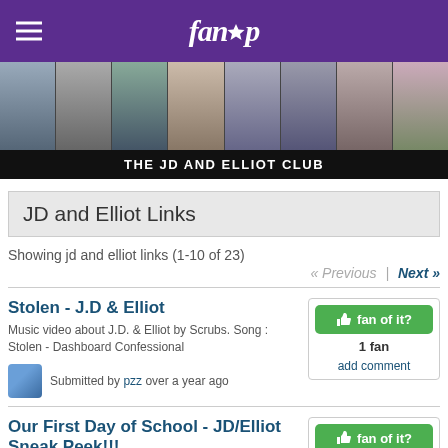fanpop
[Figure (photo): Banner strip showing multiple TV show couple scenes from JD and Elliot]
THE JD AND ELLIOT CLUB
JD and Elliot Links
Showing jd and elliot links (1-10 of 23)
« Previous  |  Next »
Stolen - J.D & Elliot
Music video about J.D. & Elliot by Scrubs. Song : Stolen - Dashboard Confessional
Submitted by pzz over a year ago
fan of it?
1 fan
add comment
Our First Day of School - JD/Elliot Sneak Peek!!!
SO FUNNY!!!!!!!
Submitted by TerriShue over a year ago
fan of it?
2 fans
add comment